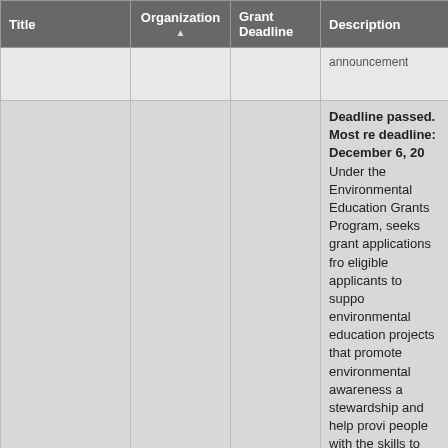| Title | Organization ▲ | Grant Deadline | Description |
| --- | --- | --- | --- |
|  |  |  | announcement |
| Environmental Education Grants | EPA |  | Deadline passed. Most re deadline: December 6, 20 Under the Environmental Education Grants Program, seeks grant applications fro eligible applicants to suppo environmental education projects that promote environmental awareness a stewardship and help provi people with the skills to tak responsible actions to prote the environment. This gran program provides financial support for projects that de demonstrate, and/or disseminate environmental education practices, metho or techniques. The total estimated funding for this competitive opportunity in |